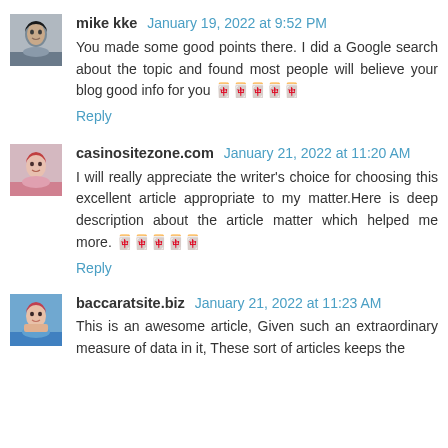mike kke  January 19, 2022 at 9:52 PM
You made some good points there. I did a Google search about the topic and found most people will believe your blog good info for you 🀄🀄🀄🀄🀄
Reply
casinositezone.com  January 21, 2022 at 11:20 AM
I will really appreciate the writer's choice for choosing this excellent article appropriate to my matter.Here is deep description about the article matter which helped me more. 🀄🀄🀄🀄🀄
Reply
baccaratsite.biz  January 21, 2022 at 11:23 AM
This is an awesome article, Given such an extraordinary measure of data in it, These sort of articles keeps the